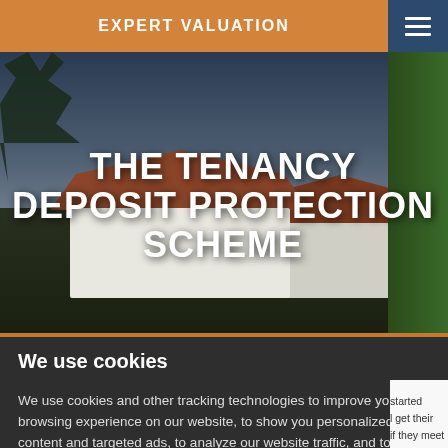EXPERT VALUATION
[Figure (photo): Exterior photo of a white rendered house with terracotta/brown roof, trees in background, dark sky, green garden area to the right.]
THE TENANCY DEPOSIT PROTECTION SCHEME
We use cookies
We use cookies and other tracking technologies to improve your browsing experience on our website, to show you personalized content and targeted ads, to analyze our website traffic, and to understand where our visitors are coming from.